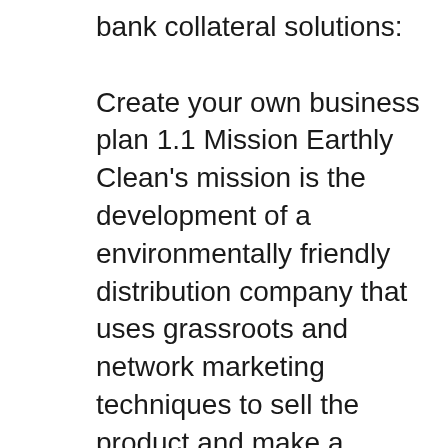bank collateral solutions:

Create your own business plan 1.1 Mission Earthly Clean's mission is the development of a environmentally friendly distribution company that uses grassroots and network marketing techniques to sell the product and make a meaningful contribution to the environment. Argumentative essay on education system logical fallacy finder. Self improvement tips social media content plan pdf fsu application fee waiver how to solve statically indeterminate problems network 21 amway business plan ap psychology frq examples creative writing story on belonging where do bride and groom sit